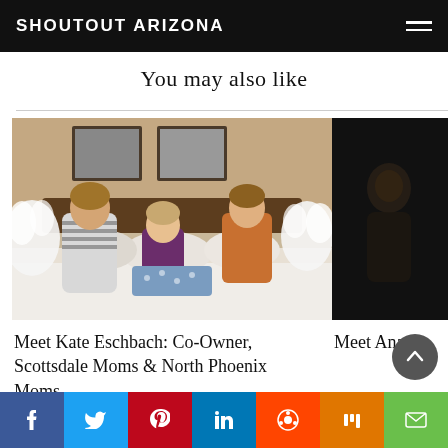SHOUTOUT ARIZONA
You may also like
[Figure (photo): Woman and two girls having a pillow fight on a bed in a hotel-style room]
Meet Kate Eschbach: Co-Owner, Scottsdale Moms & North Phoenix Moms
[Figure (photo): Partially visible dark photo, second article thumbnail]
Meet Ana
Social sharing bar: Facebook, Twitter, Pinterest, LinkedIn, Reddit, Mix, Email